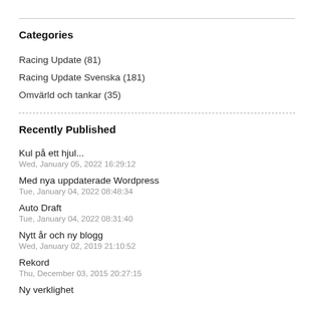Categories
Racing Update (81)
Racing Update Svenska (181)
Omvärld och tankar (35)
Recently Published
Kul på ett hjul...
Wed, January 05, 2022 16:29:12
Med nya uppdaterade Wordpress
Tue, January 04, 2022 08:48:34
Auto Draft
Tue, January 04, 2022 08:31:40
Nytt år och ny blogg
Wed, January 02, 2019 21:10:52
Rekord
Thu, December 03, 2015 20:27:15
Ny verklighet